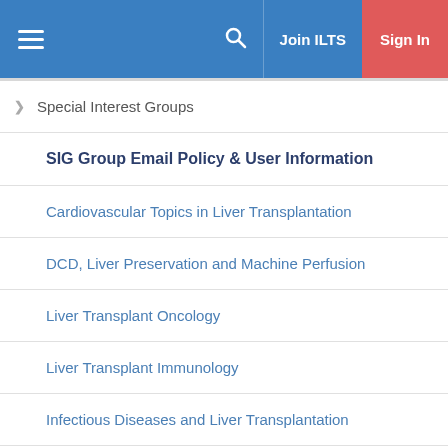Join ILTS  Sign In
Special Interest Groups
SIG Group Email Policy & User Information
Cardiovascular Topics in Liver Transplantation
DCD, Liver Preservation and Machine Perfusion
Liver Transplant Oncology
Liver Transplant Immunology
Infectious Diseases and Liver Transplantation
Living Donor Liver Transplantation
Precision Medicine and Biomarkers in Liver